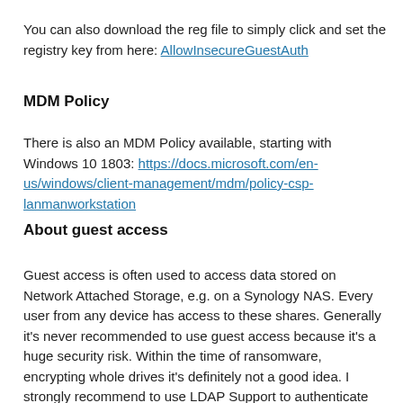You can also download the reg file to simply click and set the registry key from here: AllowInsecureGuestAuth
MDM Policy
There is also an MDM Policy available, starting with Windows 10 1803: https://docs.microsoft.com/en-us/windows/client-management/mdm/policy-csp-lanmanworkstation
About guest access
Guest access is often used to access data stored on Network Attached Storage, e.g. on a Synology NAS. Every user from any device has access to these shares. Generally it's never recommended to use guest access because it's a huge security risk. Within the time of ransomware, encrypting whole drives it's definitely not a good idea. I strongly recommend to use LDAP Support to authenticate against